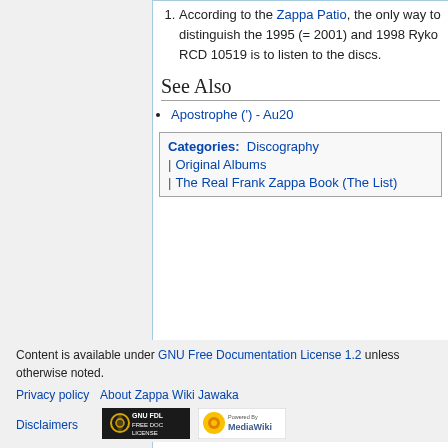According to the Zappa Patio, the only way to distinguish the 1995 (= 2001) and 1998 Ryko RCD 10519 is to listen to the discs.
See Also
Apostrophe (') - Au20
Categories: Discography | Original Albums | The Real Frank Zappa Book (The List)
Content is available under GNU Free Documentation License 1.2 unless otherwise noted.
Privacy policy   About Zappa Wiki Jawaka
Disclaimers